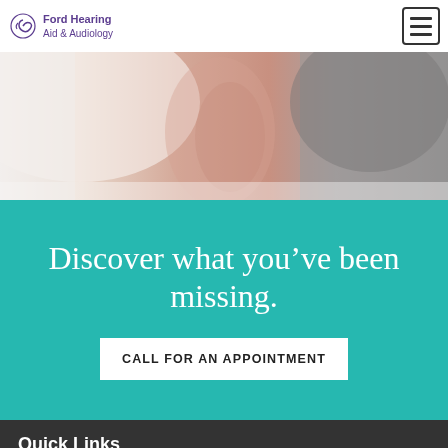Ford Hearing Aid & Audiology
[Figure (photo): Close-up photo of an elderly person's ear and side profile with gray hair against a light background]
Discover what you’ve been missing.
CALL FOR AN APPOINTMENT
Quick Links
Home